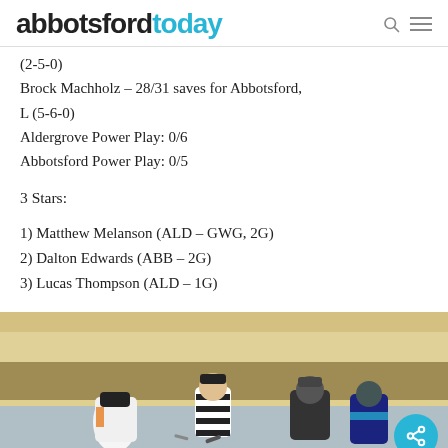abbotsfordtoday
(2-5-0)
Brock Machholz – 28/31 saves for Abbotsford, L (5-6-0)
Aldergrove Power Play: 0/6
Abbotsford Power Play: 0/5
3 Stars:
1) Matthew Melanson (ALD – GWG, 2G)
2) Dalton Edwards (ABB – 2G)
3) Lucas Thompson (ALD – 1G)
[Figure (photo): Hockey players and a referee gathered at center ice during a face-off or stoppage of play, indoor ice rink setting.]